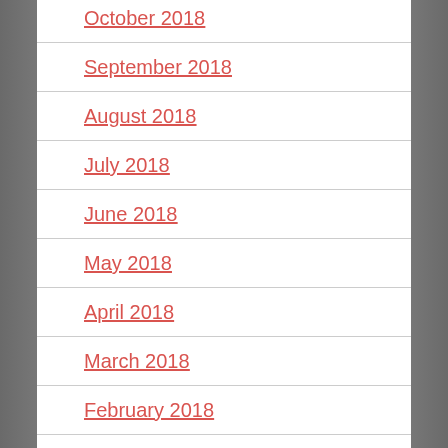October 2018
September 2018
August 2018
July 2018
June 2018
May 2018
April 2018
March 2018
February 2018
January 2018